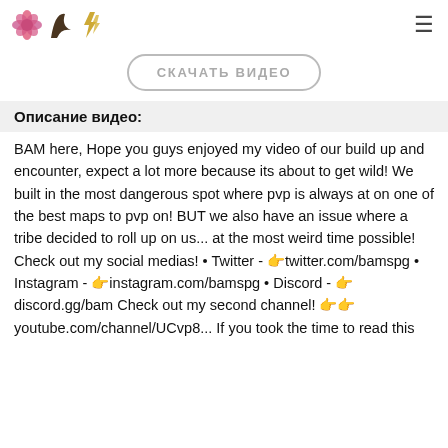[Logo icons] [hamburger menu]
СКАЧАТЬ ВИДЕО
Описание видео:
BAM here, Hope you guys enjoyed my video of our build up and encounter, expect a lot more because its about to get wild! We built in the most dangerous spot where pvp is always at on one of the best maps to pvp on! BUT we also have an issue where a tribe decided to roll up on us... at the most weird time possible! Check out my social medias! • Twitter - 👉twitter.com/bamspg • Instagram - 👉instagram.com/bamspg • Discord - 👉 discord.gg/bam Check out my second channel! 👉👉 youtube.com/channel/UCvp8... If you took the time to read this